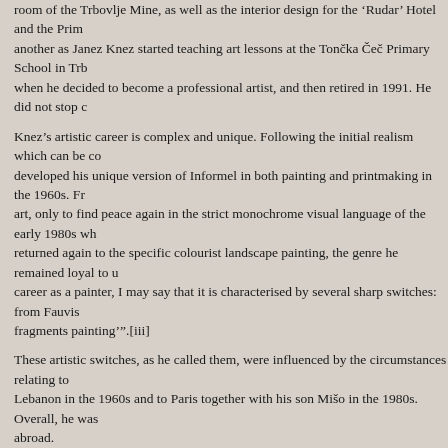room of the Trbovlje Mine, as well as the interior design for the 'Rudar' Hotel and the Pri... another as Janez Knez started teaching art lessons at the Tončka Čeč Primary School in Trb... when he decided to become a professional artist, and then retired in 1991. He did not stop c...
Knez's artistic career is complex and unique. Following the initial realism which can be co... developed his unique version of Informel in both painting and printmaking in the 1960s. Fr... art, only to find peace again in the strict monochrome visual language of the early 1980s wh... returned again to the specific colourist landscape painting, the genre he remained loyal to u... career as a painter, I may say that it is characterised by several sharp switches: from Fauvis... fragments painting'".[iii]
These artistic switches, as he called them, were influenced by the circumstances relating to... Lebanon in the 1960s and to Paris together with his son Mišo in the 1980s. Overall, he was... abroad.
Janez Knez participated in over 100 solo and group exhibitions in Slovenia and around the...
He took part in painters' colonies, gatherings, ex tempore events and workshops, especially... painters' working gathering Art Kum. He was not only an artist, but also an influential cultu... democratisation of the fine arts. In co-operation with Milan Rijavec and some other cultura... District's Art Section "RELIK" in 1962, working for many years as a mentor to several you... and 24 junior artists, survives today as the Association of Coal Mining Districts' Artists. In... children in his estate at Dobovec.
His work earned him many awards, including the Župančič Prize and the First-of-June Priz... Biennial of Graphic Arts in Ljubljana. He was a citizen of honour of the town of Trbovlje.
On the occasion of Knez's 70th anniversary (in 2001), a retrospective of his work was displ... Bassin published by Pomurska založba was presented. The next year, a retrospective exhib...